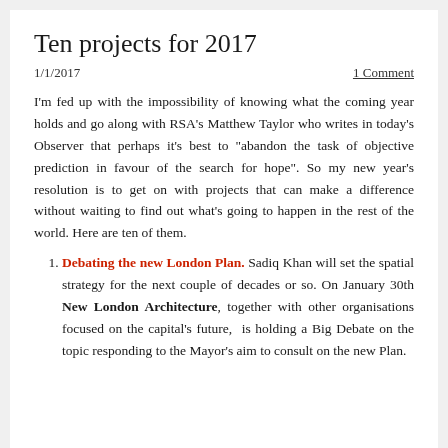Ten projects for 2017
1/1/2017
1 Comment
I'm fed up with the impossibility of knowing what the coming year holds and go along with RSA's Matthew Taylor who writes in today's Observer that perhaps it's best to "abandon the task of objective prediction in favour of the search for hope". So my new year's resolution is to get on with projects that can make a difference without waiting to find out what's going to happen in the rest of the world. Here are ten of them.
Debating the new London Plan. Sadiq Khan will set the spatial strategy for the next couple of decades or so. On January 30th New London Architecture, together with other organisations focused on the capital's future, is holding a Big Debate on the topic responding to the Mayor's aim to consult on the new Plan.